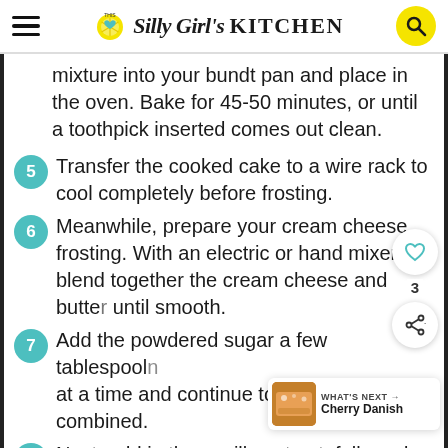This Silly Girl's KITCHEN
mixture into your bundt pan and place in the oven. Bake for 45-50 minutes, or until a toothpick inserted comes out clean.
5 Transfer the cooked cake to a wire rack to cool completely before frosting.
6 Meanwhile, prepare your cream cheese frosting. With an electric or hand mixer, blend together the cream cheese and butter until smooth.
7 Add the powdered sugar a few tablespoons at a time and continue to mix until well combined.
8 Next, add in the vanilla extract, followed by the milk, a few tablespoons at a time.